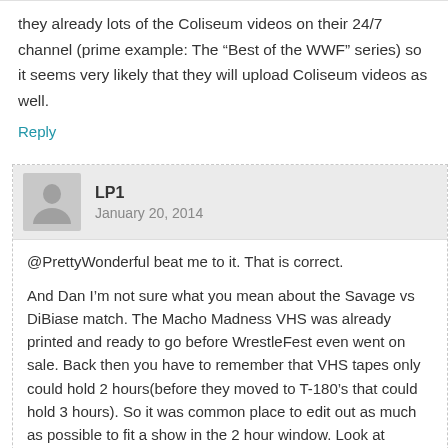they already lots of the Coliseum videos on their 24/7 channel (prime example: The “Best of the WWF” series) so it seems very likely that they will upload Coliseum videos as well.
Reply
LP1
January 20, 2014
@PrettyWonderful beat me to it. That is correct.
And Dan I’m not sure what you mean about the Savage vs DiBiase match. The Macho Madness VHS was already printed and ready to go before WrestleFest even went on sale. Back then you have to remember that VHS tapes only could hold 2 hours(before they moved to T-180’s that could hold 3 hours). So it was common place to edit out as much as possible to fit a show in the 2 hour window. Look at WrestleMania 2 for example. That was a 3 hour+ live PPV that ended up on tape at 1 hour and 55 minutes.